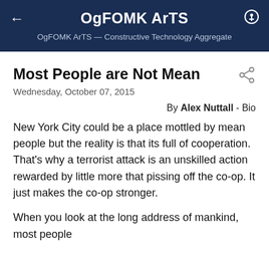OgFOMK ArTS — Constructive Technology Aggregate
Most People are Not Mean
Wednesday, October 07, 2015
By Alex Nuttall - Bio
New York City could be a place mottled by mean people but the reality is that its full of cooperation. That's why a terrorist attack is an unskilled action rewarded by little more that pissing off the co-op. It just makes the co-op stronger.
When you look at the long address of mankind, most people